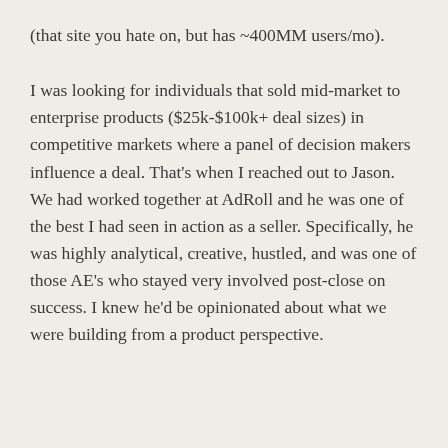(that site you hate on, but has ~400MM users/mo).
I was looking for individuals that sold mid-market to enterprise products ($25k-$100k+ deal sizes) in competitive markets where a panel of decision makers influence a deal. That's when I reached out to Jason. We had worked together at AdRoll and he was one of the best I had seen in action as a seller. Specifically, he was highly analytical, creative, hustled, and was one of those AE's who stayed very involved post-close on success. I knew he'd be opinionated about what we were building from a product perspective.